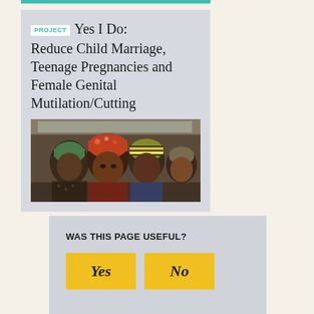PROJECT Yes I Do: Reduce Child Marriage, Teenage Pregnancies and Female Genital Mutilation/Cutting
[Figure (photo): A group of African women and girls seated inside a vehicle, wearing colorful head wraps and clothing.]
WAS THIS PAGE USEFUL?
Yes   No